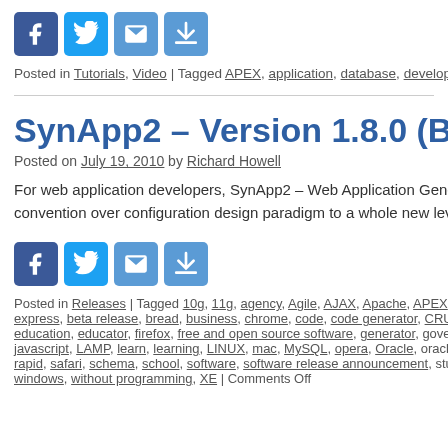[Figure (other): Social share icons row: Facebook, Twitter, Email, Share buttons (blue rounded squares)]
Posted in Tutorials, Video | Tagged APEX, application, database, developers, HR…
SynApp2 – Version 1.8.0 (Beta 1)
Posted on July 19, 2010 by Richard Howell
For web application developers, SynApp2 – Web Application Generator and convention over configuration design paradigm to a whole new level. Conti…
[Figure (other): Social share icons row: Facebook, Twitter, Email, Share buttons (blue rounded squares)]
Posted in Releases | Tagged 10g, 11g, agency, Agile, AJAX, Apache, APEX, app… express, beta release, bread, business, chrome, code, code generator, CRUD, c… education, educator, firefox, free and open source software, generator, governme… javascript, LAMP, learn, learning, LINUX, mac, MySQL, opera, Oracle, oracle xe… rapid, safari, schema, school, software, software release announcement, student… windows, without programming, XE | Comments Off